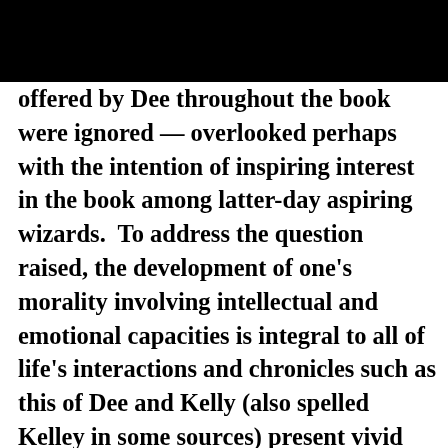offered by Dee throughout the book were ignored — overlooked perhaps with the intention of inspiring interest in the book among latter-day aspiring wizards.  To address the question raised, the development of one's morality involving intellectual and emotional capacities is integral to all of life's interactions and chronicles such as this of Dee and Kelly (also spelled Kelley in some sources) present vivid examples of men interacting with